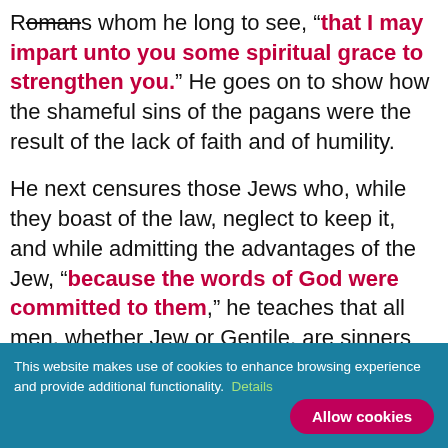Romans whom he long to see, “that I may impart unto you some spiritual grace to strengthen you.” He goes on to show how the shameful sins of the pagans were the result of the lack of faith and of humility.
He next censures those Jews who, while they boast of the law, neglect to keep it, and while admitting the advantages of the Jew, “because the words of God were committed to them,” he teaches that all men, whether Jew or Gentile, are sinners who must be saved by the grace of God, and not alone by obedience to the law.
This doctrine of salvation by Christ is dwelt upon
This website makes use of cookies to enhance browsing experience and provide additional functionality. Details  Allow cookies